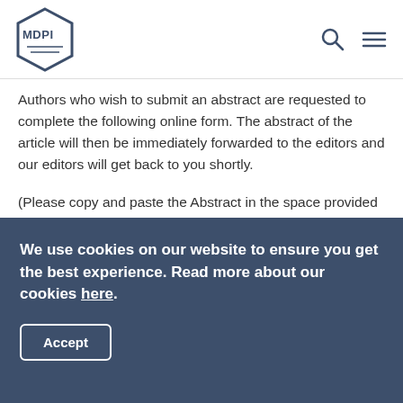MDPI
Authors who wish to submit an abstract are requested to complete the following online form. The abstract of the article will then be immediately forwarded to the editors and our editors will get back to you shortly.
(Please copy and paste the Abstract in the space provided below. You may also type it directly. The abstract should not exceed 250 words and it should condense the essential features of the article, with the focus on the major advances in the field.)
Submission Information
We use cookies on our website to ensure you get the best experience. Read more about our cookies here.